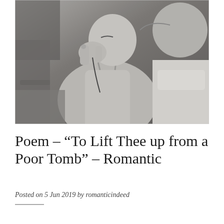[Figure (photo): Black and white photograph of a couple intimately close; a woman in a spaghetti strap top with her fingers near her mouth and a man in a white t-shirt leaning in to kiss her.]
Poem – “To Lift Thee up from a Poor Tomb” – Romantic
Posted on 5 Jun 2019 by romanticindeed